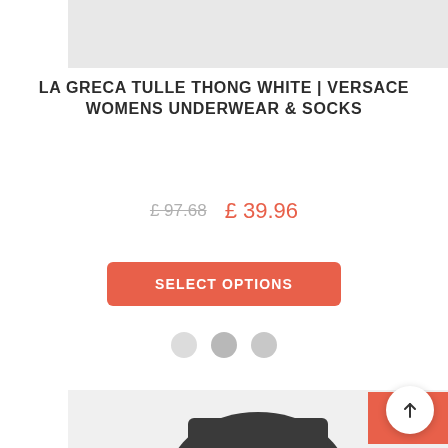[Figure (photo): Top strip showing a product image, cropped/grayed out at the top of the page]
LA GRECA TULLE THONG WHITE | VERSACE WOMENS UNDERWEAR & SOCKS
£ 97.68  £ 39.96
SELECT OPTIONS
[Figure (other): Three pagination/indicator dots in light gray shades]
[Figure (photo): Product image showing a dark garment (shirt/top) on a light gray background, with a red Sale! badge in the top-right corner]